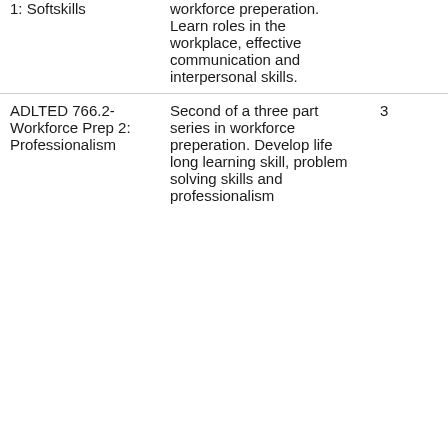| Course | Description | Credits | Delivery |
| --- | --- | --- | --- |
| 1: Softskills | workforce preperation. Learn roles in the workplace, effective communication and interpersonal skills. |  |  |
| ADLTED 766.2- Workforce Prep 2: Professionalism | Second of a three part series in workforce preperation. Develop life long learning skill, problem solving skills and professionalism | 3 | Online |